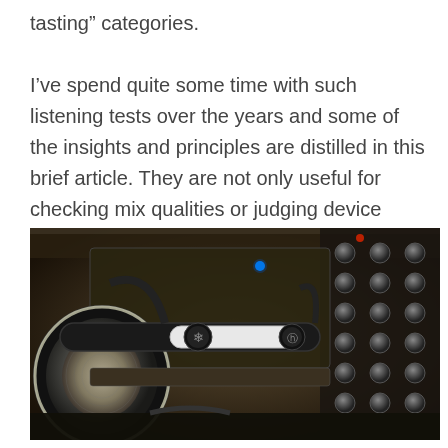tasting” categories.

I’ve spend quite some time with such listening tests over the years and some of the insights and principles are distilled in this brief article. They are not only useful for checking mix qualities or judging device capabilities in general but also give some  essential hints about developing our hearing.
[Figure (photo): Close-up photograph of professional studio headphones (AKG style) resting on audio equipment, with mixing console knobs visible in the background. The headphones are black with a white headband and circular ear cups. A blue LED light is visible on the equipment behind.]